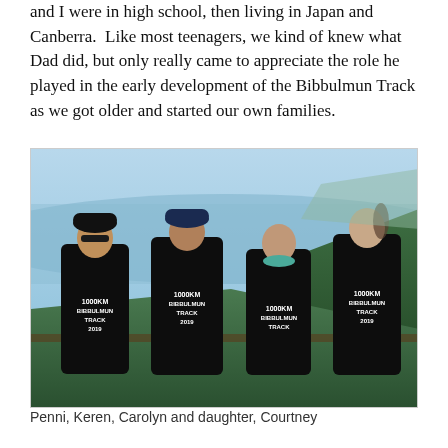and I were in high school, then living in Japan and Canberra. Like most teenagers, we kind of knew what Dad did, but only really came to appreciate the role he played in the early development of the Bibbulmun Track as we got older and started our own families.
[Figure (photo): Four women standing outdoors with their backs partly turned to show black t-shirts reading '1000KM BIBBULMUN TRACK 2019', with coastal scenery and ocean in the background.]
Penni, Keren, Carolyn and daughter, Courtney